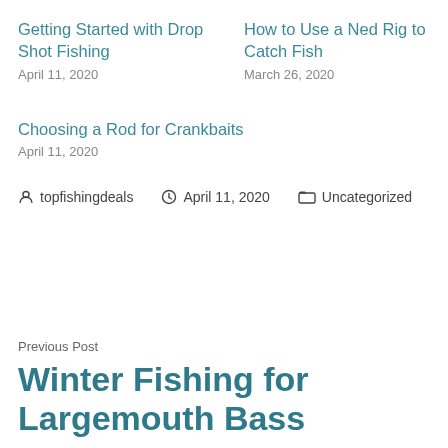Getting Started with Drop Shot Fishing
April 11, 2020
How to Use a Ned Rig to Catch Fish
March 26, 2020
Choosing a Rod for Crankbaits
April 11, 2020
topfishingdeals   April 11, 2020   Uncategorized
Previous Post
Winter Fishing for Largemouth Bass